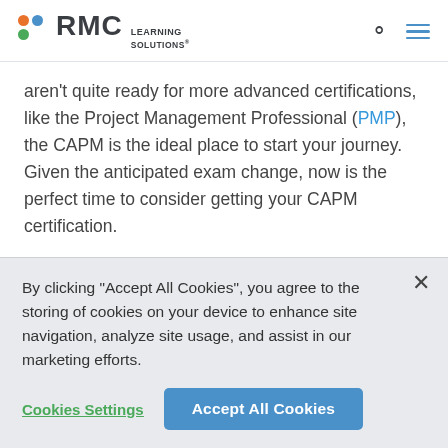RMC Learning Solutions
aren't quite ready for more advanced certifications, like the Project Management Professional (PMP), the CAPM is the ideal place to start your journey. Given the anticipated exam change, now is the perfect time to consider getting your CAPM certification.
Check out RMC's CAPM Exam Prep courses, practice exam simulation and self-study options to
By clicking "Accept All Cookies", you agree to the storing of cookies on your device to enhance site navigation, analyze site usage, and assist in our marketing efforts.
Cookies Settings
Accept All Cookies